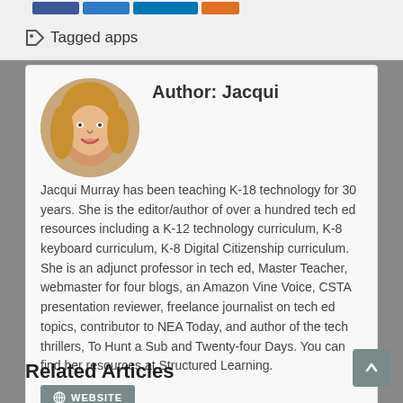[Figure (other): Social sharing buttons strip at top: Facebook (dark blue), Twitter/X (blue), LinkedIn (steel blue), orange share button]
Tagged apps
Author: Jacqui

Jacqui Murray has been teaching K-18 technology for 30 years. She is the editor/author of over a hundred tech ed resources including a K-12 technology curriculum, K-8 keyboard curriculum, K-8 Digital Citizenship curriculum. She is an adjunct professor in tech ed, Master Teacher, webmaster for four blogs, an Amazon Vine Voice, CSTA presentation reviewer, freelance journalist on tech ed topics, contributor to NEA Today, and author of the tech thrillers, To Hunt a Sub and Twenty-four Days. You can find her resources at Structured Learning.
Related Articles